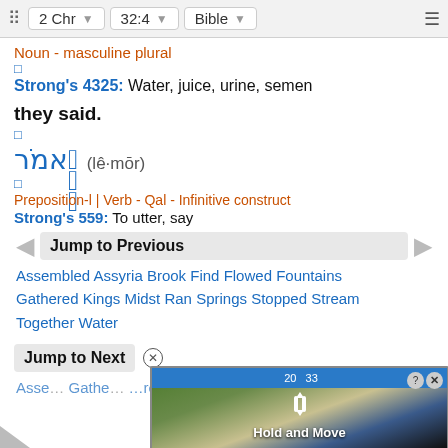2 Chr  32:4  Bible
Noun - masculine plural
Strong's 4325: Water, juice, urine, semen
they said.
לֵאמֹר (lê·mōr)
Preposition-l | Verb - Qal - Infinitive construct
Strong's 559: To utter, say
Jump to Previous
Assembled Assyria Brook Find Flowed Fountains Gathered Kings Midst Ran Springs Stopped Stream Together Water
Jump to Next
Assembled ... Gathered ... Stream
[Figure (screenshot): Video advertisement overlay with 'Hold and Move' label, blue top bar, close and help buttons, dark background with outdoor scene]